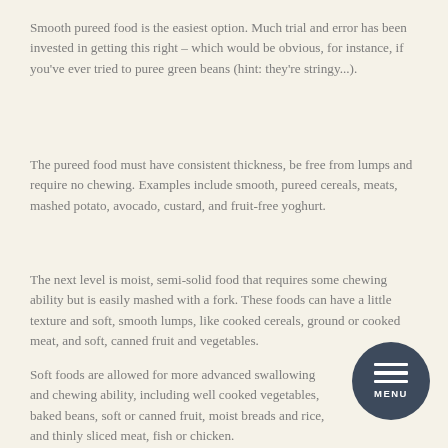Smooth pureed food is the easiest option. Much trial and error has been invested in getting this right – which would be obvious, for instance, if you've ever tried to puree green beans (hint: they're stringy...).
The pureed food must have consistent thickness, be free from lumps and require no chewing. Examples include smooth, pureed cereals, meats, mashed potato, avocado, custard, and fruit-free yoghurt.
The next level is moist, semi-solid food that requires some chewing ability but is easily mashed with a fork. These foods can have a little texture and soft, smooth lumps, like cooked cereals, ground or cooked meat, and soft, canned fruit and vegetables.
Soft foods are allowed for more advanced swallowing and chewing ability, including well cooked vegetables, baked beans, soft or canned fruit, moist breads and rice, and thinly sliced meat, fish or chicken.